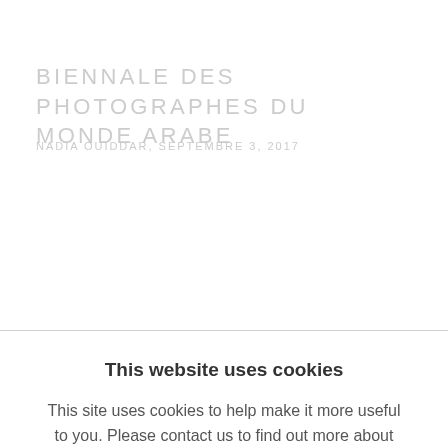BIENNALE DES PHOTOGRAPHES DU MONDE ARABE
NADIA OUIDDAR, SEPTEMBRE 3, 2017
This website uses cookies
This site uses cookies to help make it more useful to you. Please contact us to find out more about